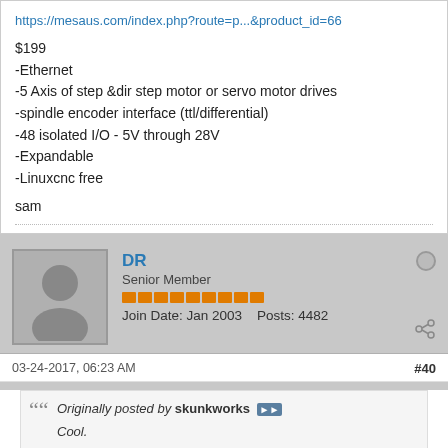https://mesaus.com/index.php?route=p...&product_id=66
$199
-Ethernet
-5 Axis of step &dir step motor or servo motor drives
-spindle encoder interface (ttl/differential)
-48 isolated I/O - 5V through 28V
-Expandable
-Linuxcnc free
sam
DR
Senior Member
Join Date: Jan 2003   Posts: 4482
03-24-2017, 06:23 AM
#40
Originally posted by skunkworks
Cool.
"Centroid Pro CNC" software $99 (#14457)
"Centroid Ultimate CNC" software $499 (#14458)